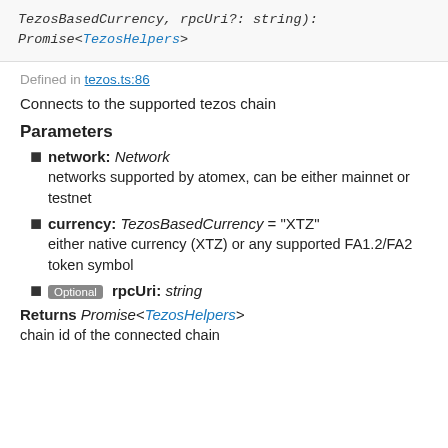TezosBasedCurrency, rpcUri?: string): Promise<TezosHelpers>
Defined in tezos.ts:86
Connects to the supported tezos chain
Parameters
network: Network — networks supported by atomex, can be either mainnet or testnet
currency: TezosBasedCurrency = "XTZ" — either native currency (XTZ) or any supported FA1.2/FA2 token symbol
Optional rpcUri: string
Returns Promise<TezosHelpers>
chain id of the connected chain